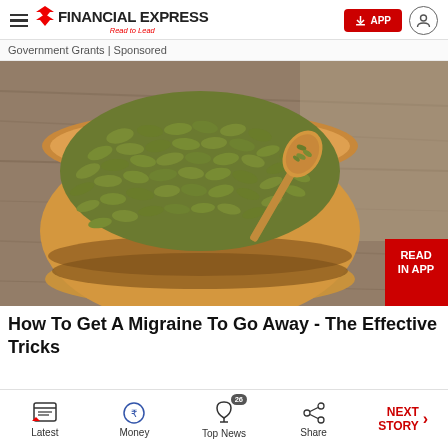FINANCIAL EXPRESS - Read to Lead
Government Grants | Sponsored
[Figure (photo): A wooden bowl filled with green pumpkin seeds (pepitas) on a wooden surface, with a wooden spoon containing a few seeds beside the bowl. A red 'READ IN APP' badge is overlaid on the bottom right corner of the image.]
How To Get A Migraine To Go Away - The Effective Tricks
Latest | Money | Top News 26 | Share | NEXT STORY